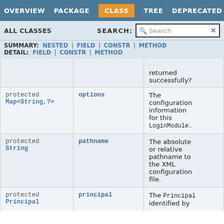OVERVIEW | PACKAGE | CLASS | TREE | DEPRECATED | INDEX
ALL CLASSES   SEARCH: [Search]
SUMMARY: NESTED | FIELD | CONSTR | METHOD   DETAIL: FIELD | CONSTR | METHOD
| Modifier and Type | Field | Description |
| --- | --- | --- |
|  |  | ... returned successfully? |
| protected Map<String,?> | options | The configuration information for this LoginModule. |
| protected String | pathname | The absolute or relative pathname to the XML configuration file. |
| protected Principal | principal | The Principal identified by... |